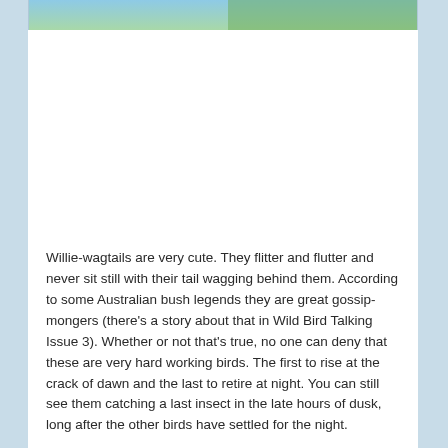[Figure (photo): Partial photo of a bird (likely a willie-wagtail) in a natural outdoor setting with blue sky and green foliage visible.]
Willie-wagtails are very cute.  They flitter and flutter and never sit still with their tail wagging behind them.  According to some Australian bush legends they are great gossip-mongers (there's a story about that in Wild Bird Talking Issue 3).   Whether or not that's true, no one  can deny that these are very hard working birds.  The first to rise at the crack of dawn and the last to retire at night.  You can still see them catching a  last insect in the late hours of dusk, long after the other birds have settled for the night.

But they are shy birds and their visits to our yard have been few and far between.  Each time they flitter off after stopping by for mere seconds.  The thornbills surprisingly